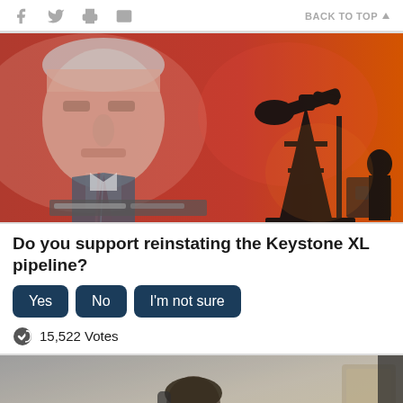f  [twitter]  [print]  [email]   BACK TO TOP ▲
[Figure (photo): Split composite image: left side shows a man (Biden) speaking, right side shows an oil pumpjack silhouette against a red/orange background]
Do you support reinstating the Keystone XL pipeline?
Yes  No  I'm not sure
🔗 15,522 Votes
[Figure (photo): Partial image at bottom showing a person sitting at a desk, head down, in a dimly lit room]